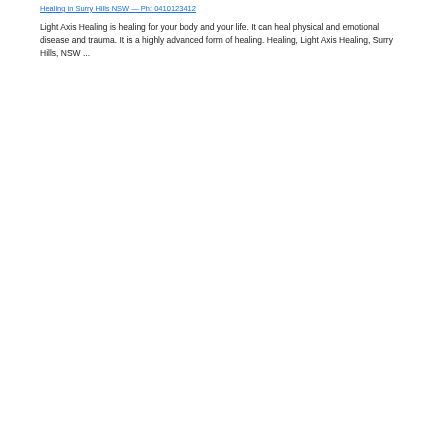Healing in Surry Hills NSW — Ph: 0410123412
Light Axis Healing is healing for your body and your life. It can heal physical and emotional disease and trauma. It is a highly advanced form of healing. Healing, Light Axis Healing, Surry Hills, NSW ...